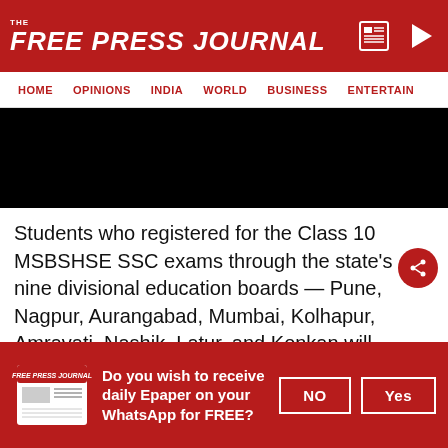THE FREE PRESS JOURNAL
HOME | OPINIONS | INDIA | WORLD | BUSINESS | ENTERTAIN
[Figure (photo): Black image block (advertisement or photo placeholder)]
Students who registered for the Class 10 MSBSHSE SSC exams through the state's nine divisional education boards — Pune, Nagpur, Aurangabad, Mumbai, Kolhapur, Amravati, Nashik, Latur, and Konkan will receive their Maharashtra board SSC result 2022 today.
Do you wish to receive daily Epaper on your WhatsApp for FREE?